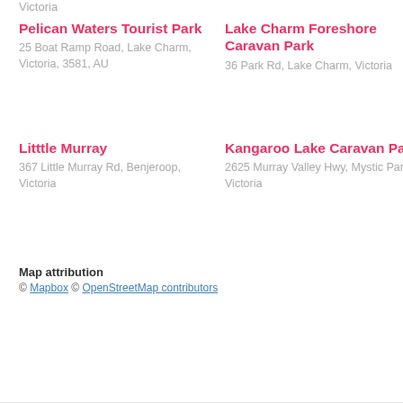Victoria
Pelican Waters Tourist Park
25 Boat Ramp Road, Lake Charm, Victoria, 3581, AU
Lake Charm Foreshore Caravan Park
36 Park Rd, Lake Charm, Victoria
Litttle Murray
367 Little Murray Rd, Benjeroop, Victoria
Kangaroo Lake Caravan Park
2625 Murray Valley Hwy, Mystic Park, Victoria
Map attribution
© Mapbox © OpenStreetMap contributors